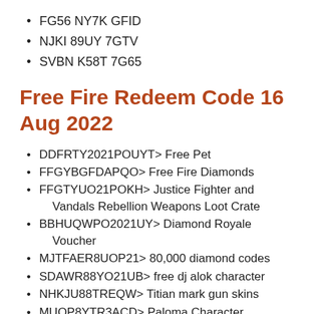FG56 NY7K GFID
NJKI 89UY 7GTV
SVBN K58T 7G65
Free Fire Redeem Code 16 Aug 2022
DDFRTY2021POUYT> Free Pet
FFGYBGFDAPQO> Free Fire Diamonds
FFGTYUO21POKH> Justice Fighter and Vandals Rebellion Weapons Loot Crate
BBHUQWPO2021UY> Diamond Royale Voucher
MJTFAER8UOP21> 80,000 diamond codes
SDAWR88YO21UB> free dj alok character
NHKJU88TREQW> Titian mark gun skins
MUOP8YTR3ACD> Paloma Character